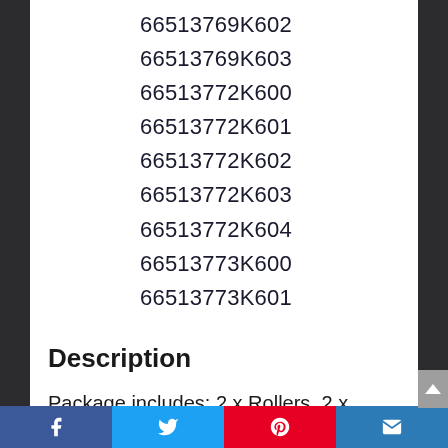66513769K602 66513769K603 66513772K600 66513772K601 66513772K602 66513772K603 66513772K604 66513773K600 66513773K601
Description
Package includes: 2 x Rollers, 2 x Mounts, 2 x Rope Cables
10. Replacement Dishwasher Door Balance Link Kit For Kitchenaid